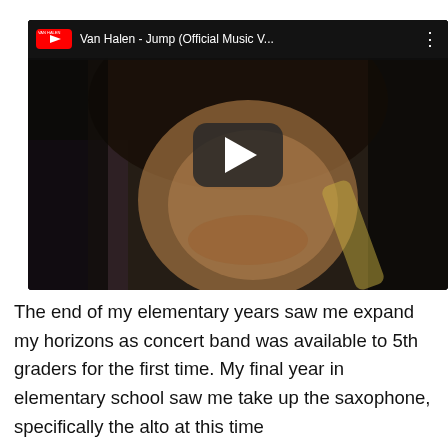[Figure (screenshot): YouTube video embed showing Van Halen - Jump (Official Music V...) with a play button overlay on a thumbnail of a man with curly hair smiling, holding drumsticks]
The end of my elementary years saw me expand my horizons as concert band was available to 5th graders for the first time. My final year in elementary school saw me take up the saxophone, specifically the alto at this time